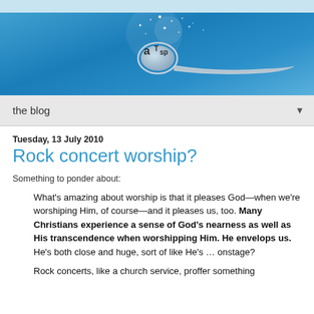[Figure (illustration): Blue gradient banner header with ATSP logo on a spoon graphic with sparkles]
the blog
Tuesday, 13 July 2010
Rock concert worship?
Something to ponder about:
What's amazing about worship is that it pleases God—when we're worshiping Him, of course—and it pleases us, too. Many Christians experience a sense of God's nearness as well as His transcendence when worshipping Him. He envelops us. He's both close and huge, sort of like He's … onstage?
Rock concerts, like a church service, proffer something